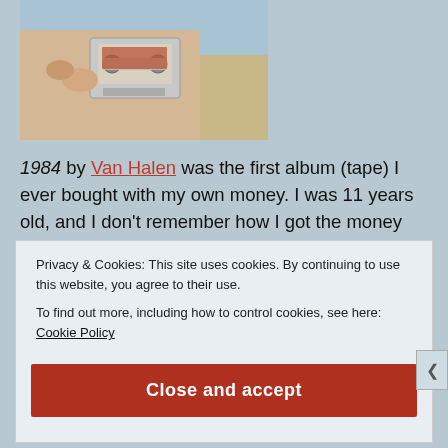[Figure (photo): Partial photo showing a person holding a cassette tape, with sandy/golden background]
1984 by Van Halen was the first album (tape) I ever bought with my own money. I was 11 years old, and I don't remember how I got the money (by honest means, I assure you), but I knew that was what I wanted.
I was raised on rock music. I remember as a kid listening to 94.7 KMET out of L.A. It wasn't called classic rock yet, because the music wasn't that old; the oldest stuff they played was from the
Privacy & Cookies: This site uses cookies. By continuing to use this website, you agree to their use.
To find out more, including how to control cookies, see here: Cookie Policy
Close and accept